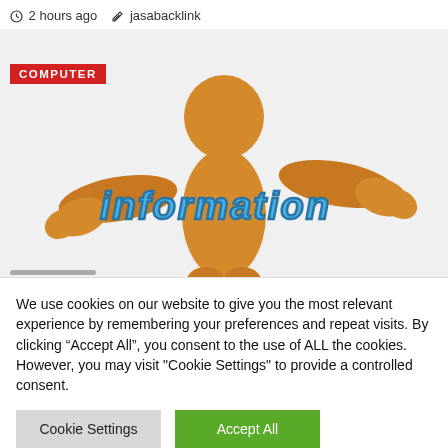2 hours ago   jasabacklink
[Figure (illustration): Orange 3D cartoon figure with arms spread wide, holding a large blue 3D text 'information'. A red COMPUTER label badge is overlaid on the top-left of the image.]
We use cookies on our website to give you the most relevant experience by remembering your preferences and repeat visits. By clicking “Accept All”, you consent to the use of ALL the cookies. However, you may visit "Cookie Settings" to provide a controlled consent.
Cookie Settings
Accept All